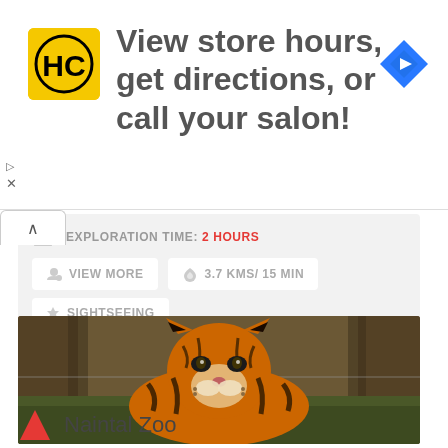[Figure (screenshot): Advertisement banner with yellow HC logo, text 'View store hours, get directions, or call your salon!', and blue navigation diamond icon]
EXPLORATION TIME: 2 HOURS
VIEW MORE
3.7 KMS/ 15 MIN
SIGHTSEEING
[Figure (photo): A Bengal tiger resting and looking at the camera, with greenery in the background]
Naintal Zoo